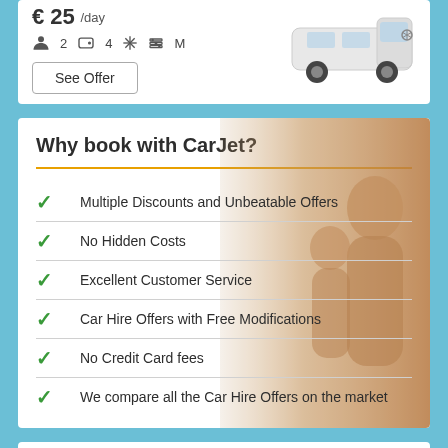€ 25 /day  👤 2  🚗 4  ❄  🔧 M
See Offer
Why book with CarJet?
Multiple Discounts and Unbeatable Offers
No Hidden Costs
Excellent Customer Service
Car Hire Offers with Free Modifications
No Credit Card fees
We compare all the Car Hire Offers on the market
[Figure (photo): Family in a car, mother and child smiling, warm sunset tones, overlaid on the checklist section]
[Figure (photo): White Mercedes van/minivan shown top right of the first card]
What can you find on the CarJet website?